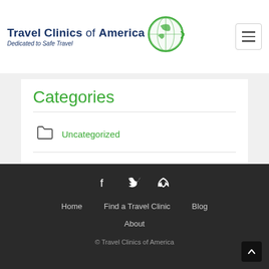[Figure (logo): Travel Clinics of America logo with globe icon. Text reads 'Travel Clinics of America' and 'Dedicated to Safe Travel']
Categories
Uncategorized
Home  Find a Travel Clinic  Blog  About  © Travel Clinics of America